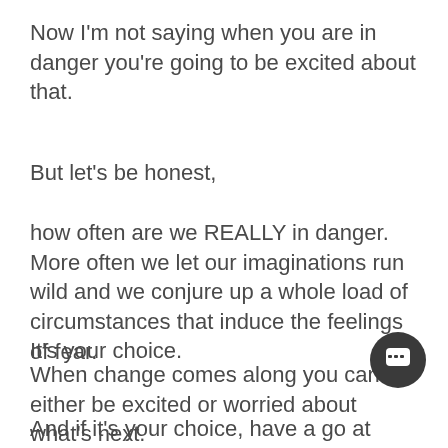Now I'm not saying when you are in danger you're going to be excited about that.
But let's be honest,
how often are we REALLY in danger. More often we let our imaginations run wild and we conjure up a whole load of circumstances that induce the feelings of fear.
When change comes along you can either be excited or worried about what's next.
It's your choice.
And if it's your choice, have a go at